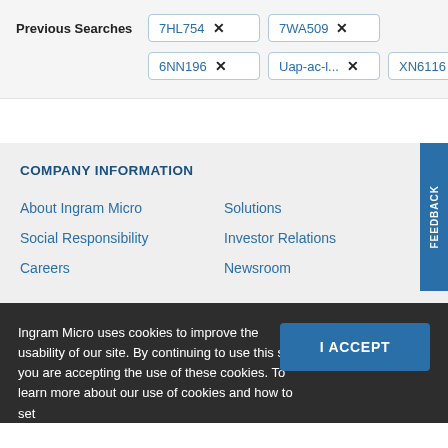Previous Searches  7HL754 ×  7WA509 ×  6NN196 ×  Uap-ac-l... ×  XN6116 ×
COMPANY INFORMATION
About Ingram Micro
Solutions
Social Responsibility
Investor Relations
Careers
Newsroom
Ingram Micro uses cookies to improve the usability of our site. By continuing to use this site you are accepting the use of these cookies. To learn more about our use of cookies and how to set